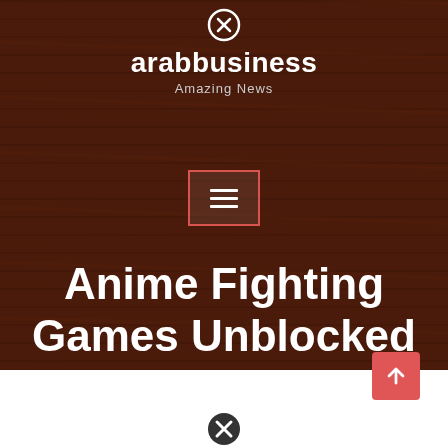[Figure (screenshot): Website header with wood texture background showing arabbusiness logo with 'Amazing News' tagline, hamburger menu button with red border, and large white bold title 'Anime Fighting Games Unblocked'. Bottom portion is white with a red scroll-to-top button and a close icon.]
arabbusiness
Amazing News
Anime Fighting Games Unblocked